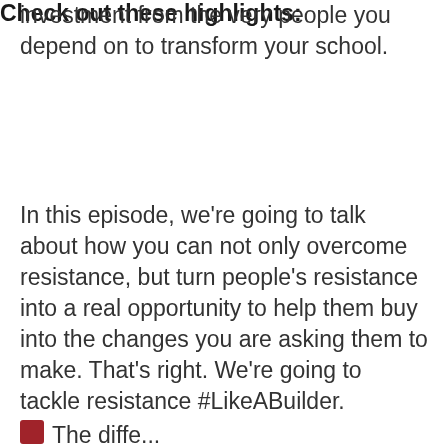investment from the very people you depend on to transform your school.
In this episode, we're going to talk about how you can not only overcome resistance, but turn people's resistance into a real opportunity to help them buy into the changes you are asking them to make. That's right. We're going to tackle resistance #LikeABuilder.
Check out these highlights: